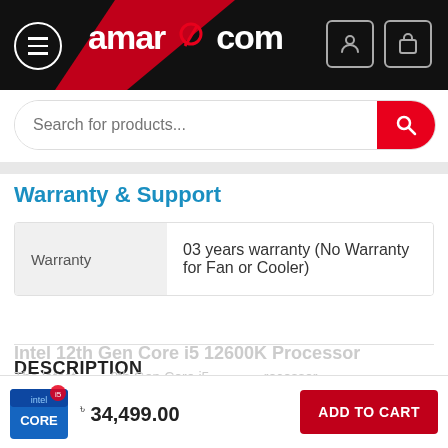[Figure (screenshot): amarpc.com website header with logo, menu button, user icon, and cart icon on dark background]
[Figure (screenshot): Search bar with placeholder text 'Search for products...' and red search button]
Warranty & Support
|  |  |
| --- | --- |
| Warranty | 03 years warranty (No Warranty for Fan or Cooler) |
DESCRIPTION
Intel 12th Gen Core i5 12600K Processor
The latest 12th Gen Core i5...
৳ 34,499.00
ADD TO CART